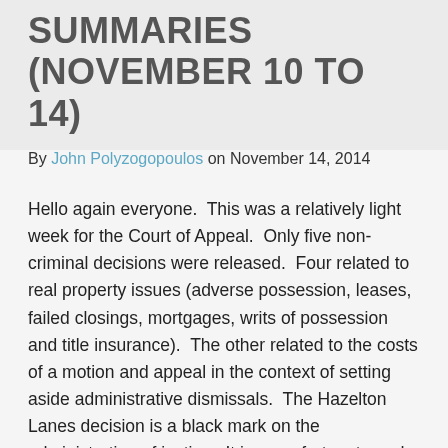SUMMARIES (NOVEMBER 10 TO 14)
By John Polyzogopoulos on November 14, 2014
Hello again everyone.  This was a relatively light week for the Court of Appeal.  Only five non-criminal decisions were released.  Four related to real property issues (adverse possession, leases, failed closings, mortgages, writs of possession and title insurance).  The other related to the costs of a motion and appeal in the context of setting aside administrative dismissals.  The Hazelton Lanes decision is a black mark on the administration of justice.  It is an unfortunate and stark reminder to trial counsel of the importance of proper and timely documentary disclosure and cooperation and communication between counsel to focus on what is relevant to ensure that cases are tried fairly and efficiently.  In this case, as the Court of Appeal said, the trial “spiralled out of control!” and went from a 3